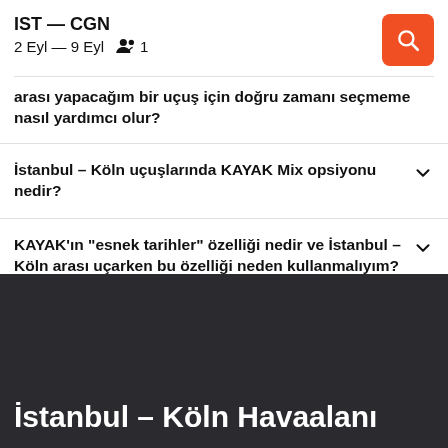IST — CGN
2 Eyl — 9 Eyl  1
arası yapacağım bir uçuş için doğru zamanı seçmeme nasıl yardımcı olur?
İstanbul – Köln uçuşlarında KAYAK Mix opsiyonu nedir?
KAYAK'ın "esnek tarihler" özelliği nedir ve İstanbul – Köln arası uçarken bu özelliği neden kullanmalıyım?
İstanbul – Köln Havaalanı